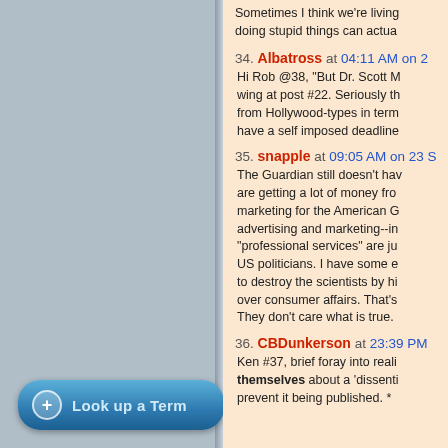Sometimes I think we're living doing stupid things can actua
34. Albatross at 04:11 AM on 2... Hi Rob @38, "But Dr. Scott M wing at post #22. Seriously th from Hollywood-types in term have a self imposed deadline
35. snapple at 09:05 AM on 23 S The Guardian still doesn't hav are getting a lot of money fro marketing for the American G advertising and marketing--in "professional services" are ju US politicians. I have some e to destroy the scientists by hi over consumer affairs. That's They don't care what is true.
36. CBDunkerson at 23:39 PM Ken #37, brief foray into reali themselves about a 'dissenti prevent it being published. *